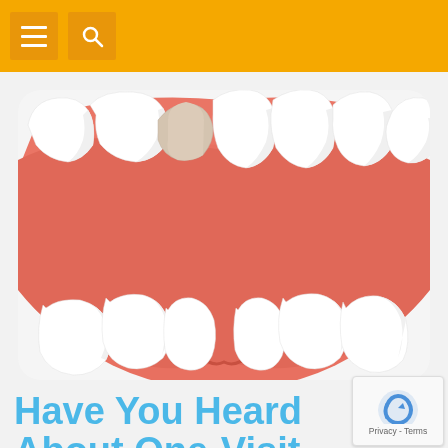Navigation header with menu and search buttons
[Figure (illustration): 3D dental illustration showing teeth on a lower jaw model with pink gums, one tooth prepared as a dental abutment (crown preparation), viewed from below at an angle. The model shows white teeth with salmon/coral colored gum tissue and a single tooth stub in the center-left area.]
Have You Heard About One-Visit